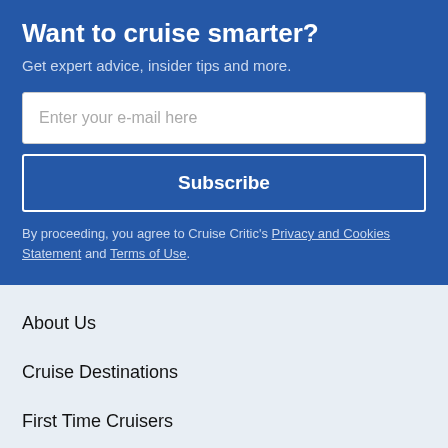Want to cruise smarter?
Get expert advice, insider tips and more.
Enter your e-mail here
Subscribe
By proceeding, you agree to Cruise Critic's Privacy and Cookies Statement and Terms of Use.
About Us
Cruise Destinations
First Time Cruisers
Find A Cruise